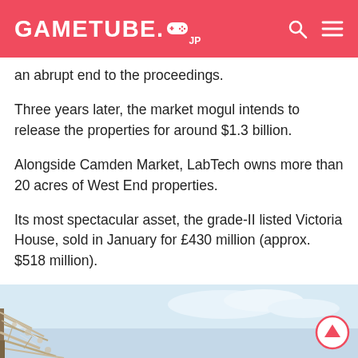GAMETUBE.JP
an abrupt end to the proceedings.
Three years later, the market mogul intends to release the properties for around $1.3 billion.
Alongside Camden Market, LabTech owns more than 20 acres of West End properties.
Its most spectacular asset, the grade-II listed Victoria House, sold in January for £430 million (approx. $518 million).
[Figure (photo): Outdoor winter scene with frost-covered trees against a light blue sky, partially visible at bottom of page.]